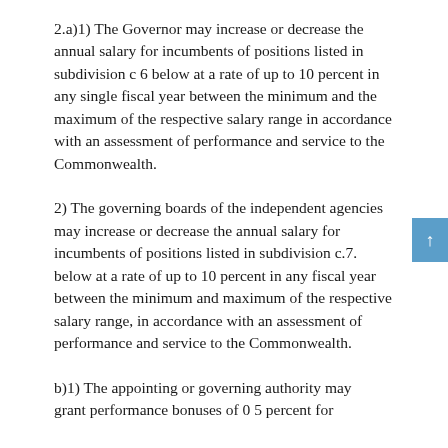2.a)1) The Governor may increase or decrease the annual salary for incumbents of positions listed in subdivision c 6 below at a rate of up to 10 percent in any single fiscal year between the minimum and the maximum of the respective salary range in accordance with an assessment of performance and service to the Commonwealth.
2) The governing boards of the independent agencies may increase or decrease the annual salary for incumbents of positions listed in subdivision c.7. below at a rate of up to 10 percent in any fiscal year between the minimum and maximum of the respective salary range, in accordance with an assessment of performance and service to the Commonwealth.
b)1) The appointing or governing authority may grant performance bonuses of 0 5 percent for